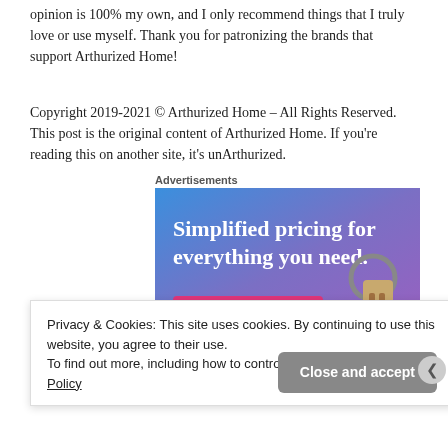opinion is 100% my own, and I only recommend things that I truly love or use myself. Thank you for patronizing the brands that support Arthurized Home!
Copyright 2019-2021 © Arthurized Home – All Rights Reserved. This post is the original content of Arthurized Home. If you're reading this on another site, it's unArthurized.
Advertisements
[Figure (screenshot): Advertisement banner with purple-blue gradient background showing text 'Simplified pricing for everything you need.' with a pink 'Build Your Website' button and a key image on the right side.]
Privacy & Cookies: This site uses cookies. By continuing to use this website, you agree to their use.
To find out more, including how to control cookies, see here: Cookie Policy
Close and accept